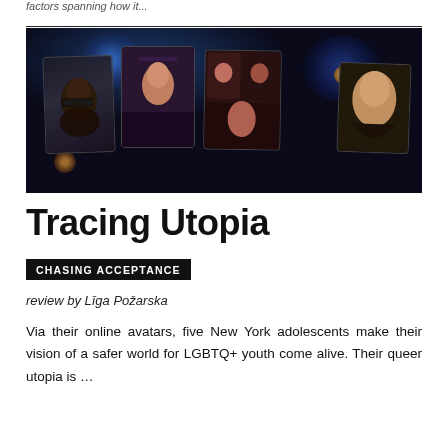factors spanning how it...
[Figure (photo): Multiple smartphones held up in a dark environment displaying video calls with LGBTQ+ adolescents, with colorful bokeh lights in the background — blue lights on the left and orange/warm lights on the right.]
Tracing Utopia
CHASING ACCEPTANCE
review by Līga Požarska
Via their online avatars, five New York adolescents make their vision of a safer world for LGBTQ+ youth come alive. Their queer utopia is …